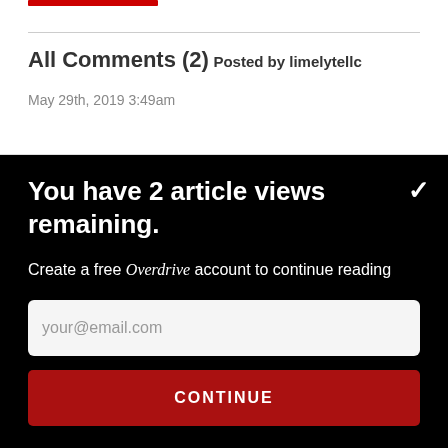All Comments (2)
Posted by limelytellc
May 29th, 2019 3:49am
You have 2 article views remaining.
Create a free Overdrive account to continue reading
your@email.com
CONTINUE